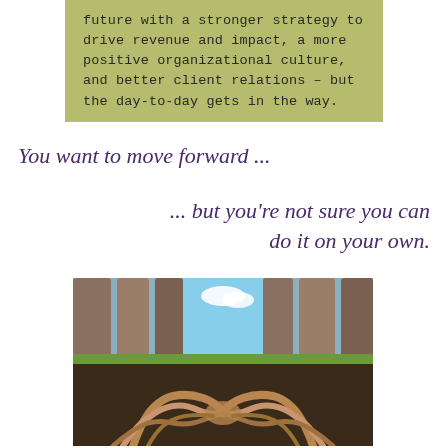future with a stronger strategy to drive revenue and impact, a more positive organizational culture, and better client relations – but the day-to-day gets in the way.
You want to move forward ...
... but you're not sure you can do it on your own.
[Figure (photo): A photo showing tree trunks forming a gap revealing sky and clouds above, with tree roots below ground forming the shape of two hands shaking in partnership.]